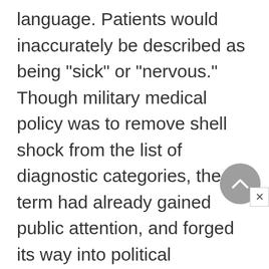language. Patients would inaccurately be described as being "sick" or "nervous." Though military medical policy was to remove shell shock from the list of diagnostic categories, the term had already gained public attention, and forged its way into political discussions and cultural notions about war. Shell shock is the only medical concept originating from wartime experience that has moved on to become a powerful metaphorical key to the historical understanding of